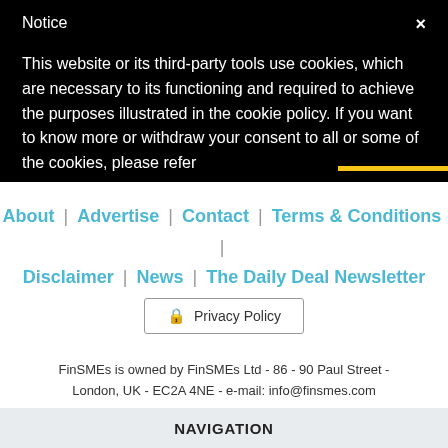Notice
This website or its third-party tools use cookies, which are necessary to its functioning and required to achieve the purposes illustrated in the cookie policy. If you want to know more or withdraw your consent to all or some of the cookies, please refer
About | Advertise | Contact | Terms & Conditions | Disclaimer | News | The Daily Deal Newsletter
Privacy Policy
FinSMEs is owned by FinSMEs Ltd - 86 - 90 Paul Street - London, UK - EC2A 4NE - e-mail: info@finsmes.com
NAVIGATION